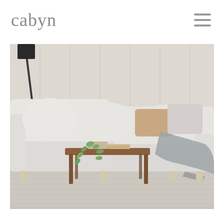cabyn
[Figure (photo): A light beige/cream sectional sofa with plush cushions, decorated with tan and textured throw pillows and a grey knit blanket. A dark wood side table holds a plant and books. The setting is a bright living room with a light wood panel wall and a woven grey area rug.]